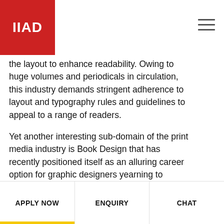IIAD
the layout to enhance readability. Owing to huge volumes and periodicals in circulation, this industry demands stringent adherence to layout and typography rules and guidelines to appeal to a range of readers.

Yet another interesting sub-domain of the print media industry is Book Design that has recently positioned itself as an alluring career option for graphic designers yearning to quench their creative thirst. This design speciality can be further divided into two disciplines – book jacket and book interior design. The main motive though remains the same as that for fast moving consumer goods – to move the product off the shelves. The work of these two disciplines may or may not intersect depending on the publishing house you get associated with. Amongst the lot, mass-
APPLY NOW   ENQUIRY   CHAT